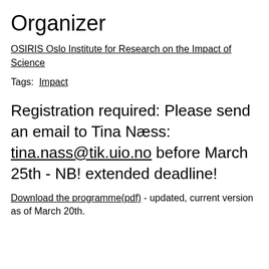Organizer
OSIRIS Oslo Institute for Research on the Impact of Science
Tags: Impact
Registration required: Please send an email to Tina Næss: tina.nass@tik.uio.no before March 25th - NB! extended deadline!
Download the programme(pdf) - updated, current version as of March 20th.